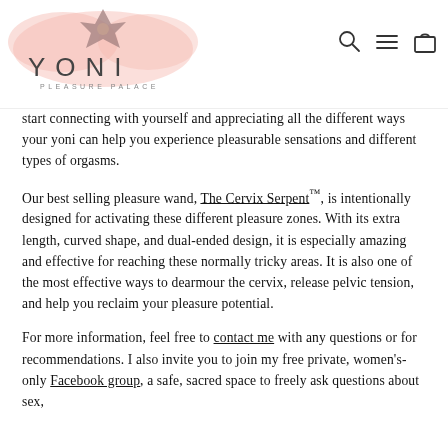YONI PLEASURE PALACE — navigation header with logo and icons
start connecting with yourself and appreciating all the different ways your yoni can help you experience pleasurable sensations and different types of orgasms.
Our best selling pleasure wand, The Cervix Serpent™, is intentionally designed for activating these different pleasure zones. With its extra length, curved shape, and dual-ended design, it is especially amazing and effective for reaching these normally tricky areas. It is also one of the most effective ways to dearmour the cervix, release pelvic tension, and help you reclaim your pleasure potential.
For more information, feel free to contact me with any questions or for recommendations. I also invite you to join my free private, women's-only Facebook group, a safe, sacred space to freely ask questions about sex,